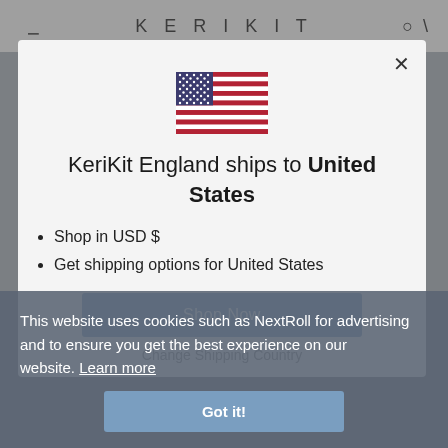KERIKIT
[Figure (illustration): US flag emoji/icon centered in modal]
KeriKit England ships to United States
Shop in USD $
Get shipping options for United States
Shop Now
Change Shipping Country
This website uses cookies such as NextRoll for advertising and to ensure you get the best experience on our website. Learn more
Got it!